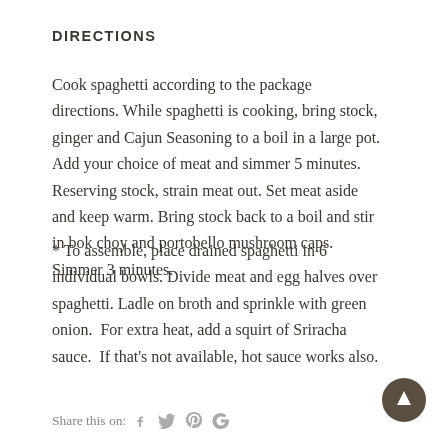DIRECTIONS
Cook spaghetti according to the package directions. While spaghetti is cooking, bring stock, ginger and Cajun Seasoning to a boil in a large pot. Add your choice of meat and simmer 5 minutes. Reserving stock, strain meat out. Set meat aside and keep warm. Bring stock back to a boil and stir in bok choy and portobello mushroom caps. Simmer 3 minutes.
* To assemble, place drained spaghetti in 6 individual bowls. Divide meat and egg halves over spaghetti. Ladle on broth and sprinkle with green onion.  For extra heat, add a squirt of Sriracha sauce.  If that's not available, hot sauce works also.
Share this on: